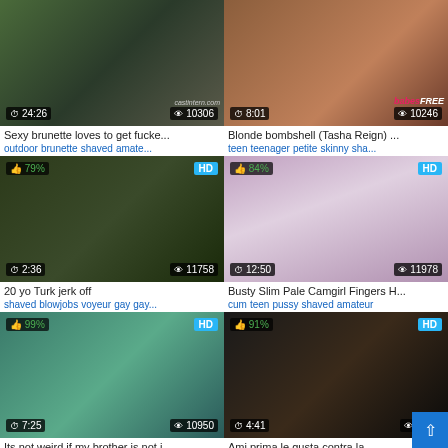[Figure (screenshot): Video thumbnail grid showing 6 video cards in 2 columns with thumbnails, titles, tags, duration, view count, and rating overlays]
Sexy brunette loves to get fucke...
outdoor brunette shaved amate...
Blonde bombshell (Tasha Reign) ...
teen teenager petite skinny sha...
20 yo Turk jerk off
shaved blowjobs voyeur gay gay...
Busty Slim Pale Camgirl Fingers H...
cum teen pussy shaved amateur
Its not weird if my brother is not i...
babe shaved lingerie tease slee...
Ami prima le gusta contra la
anal cumshot cum creampie sha...